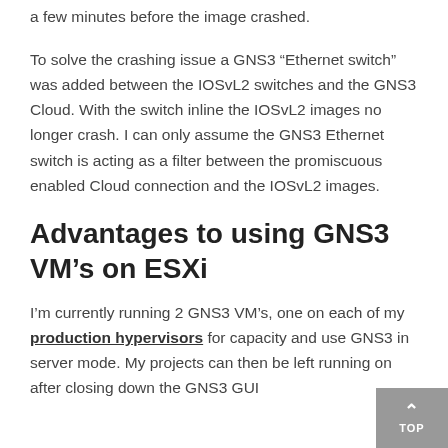a few minutes before the image crashed.
To solve the crashing issue a GNS3 “Ethernet switch” was added between the IOSvL2 switches and the GNS3 Cloud. With the switch inline the IOSvL2 images no longer crash. I can only assume the GNS3 Ethernet switch is acting as a filter between the promiscuous enabled Cloud connection and the IOSvL2 images.
Advantages to using GNS3 VM’s on ESXi
I’m currently running 2 GNS3 VM’s, one on each of my production hypervisors for capacity and use GNS3 in server mode. My projects can then be left running on after closing down the GNS3 GUI...